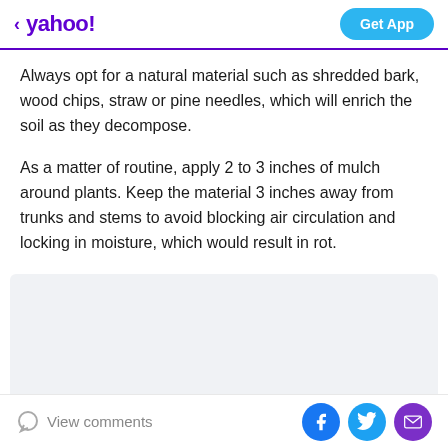< yahoo! | Get App
Always opt for a natural material such as shredded bark, wood chips, straw or pine needles, which will enrich the soil as they decompose.
As a matter of routine, apply 2 to 3 inches of mulch around plants. Keep the material 3 inches away from trunks and stems to avoid blocking air circulation and locking in moisture, which would result in rot.
[Figure (other): Advertisement placeholder box with light gray background]
View comments | Facebook share | Twitter share | Email share